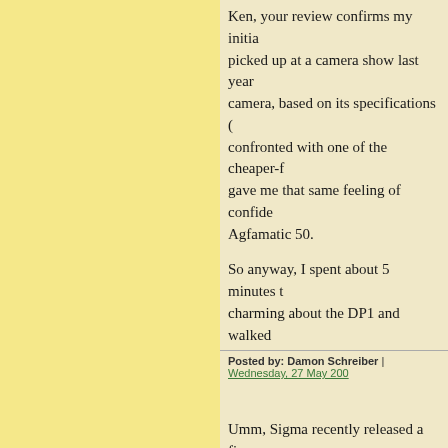Ken, your review confirms my initia... picked up at a camera show last year... camera, based on its specifications (... confronted with one of the cheaper-f... gave me that same feeling of confide... Agfamatic 50.
So anyway, I spent about 5 minutes t... charming about the DP1 and walked...
Posted by: Damon Schreiber | Wednesday, 27 May 200...
Umm, Sigma recently released a firm... address the locking up, and maybe th... would have helped, but it is possible...
Posted by: isaac | Wednesday, 27 May 2009 at 03:35 P...
There is an update 1.01 of the DP2 f... resolves the freezing problem.